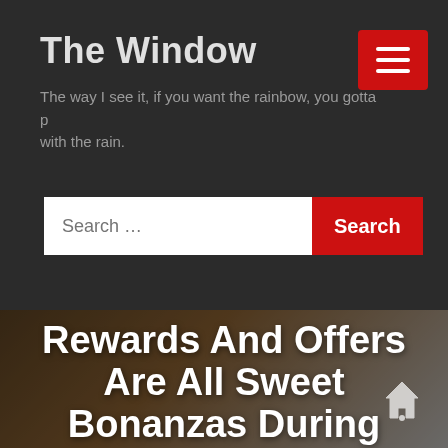The Window
The way I see it, if you want the rainbow, you gotta put up with the rain.
[Figure (screenshot): Search bar with text input field showing 'Search ...' placeholder and a red 'Search' button]
Rewards And Offers Are All Sweet Bonanzas During